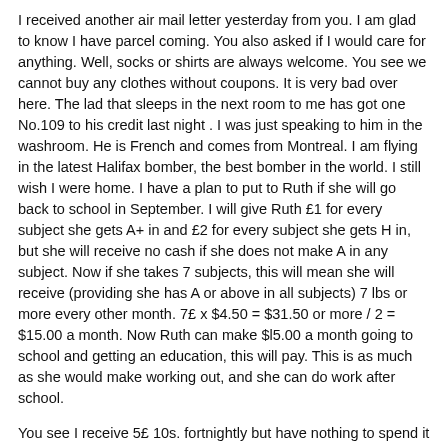I received another air mail letter yesterday from you. I am glad to know I have parcel coming. You also asked if I would care for anything. Well, socks or shirts are always welcome. You see we cannot buy any clothes without coupons. It is very bad over here. The lad that sleeps in the next room to me has got one No.109 to his credit last night . I was just speaking to him in the washroom. He is French and comes from Montreal. I am flying in the latest Halifax bomber, the best bomber in the world. I still wish I were home. I have a plan to put to Ruth if she will go back to school in September. I will give Ruth £1 for every subject she gets A+ in and £2 for every subject she gets H in, but she will receive no cash if she does not make A in any subject. Now if she takes 7 subjects, this will mean she will receive (providing she has A or above in all subjects) 7 lbs or more every other month. 7£ x $4.50 = $31.50 or more / 2 = $15.00 a month. Now Ruth can make $l5.00 a month going to school and getting an education, this will pay. This is as much as she would make working out, and she can do work after school.
You see I receive 5£ 10s. fortnightly but have nothing to spend it on other than mess bills and loan money as a matter of fact I have £10 cashed in a sly pocket. By the way how is my cash at home? How much have I?
Well I must close now. I will write soon and on my next leave I hope to